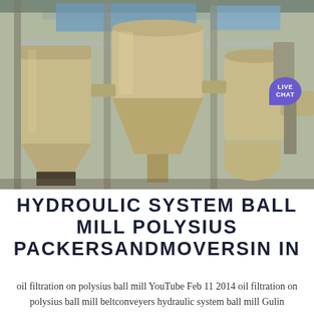[Figure (photo): Industrial milling equipment inside a factory building — large beige/tan cylindrical and conical hoppers, separator units, pipes and conveyor structures under a metal roof with blue sky visible. A 'LIVE CHAT' speech bubble button is overlaid in purple at top right.]
HYDROULIC SYSTEM BALL MILL POLYSIUS PACKERSANDMOVERSIN IN
oil filtration on polysius ball mill YouTube Feb 11 2014 oil filtration on polysius ball mill beltconveyers hydraulic system ball mill Gulin